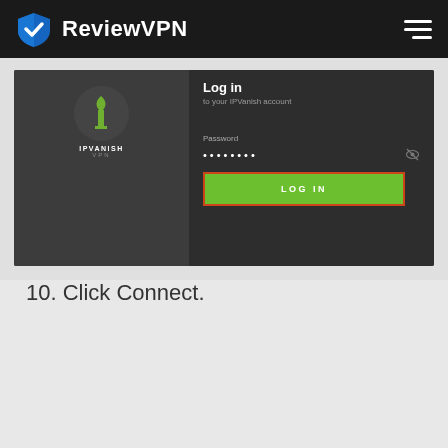ReviewVPN
[Figure (screenshot): IPVanish VPN login screen showing 'Log in to your IPVanish account' with a Password field filled with dots, and a green LOG IN button with orange border]
10. Click Connect.